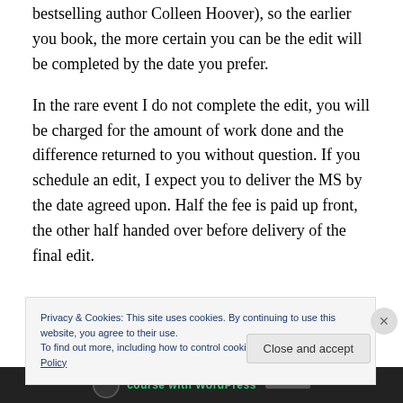bestselling author Colleen Hoover), so the earlier you book, the more certain you can be the edit will be completed by the date you prefer.
In the rare event I do not complete the edit, you will be charged for the amount of work done and the difference returned to you without question. If you schedule an edit, I expect you to deliver the MS by the date agreed upon. Half the fee is paid up front, the other half handed over before delivery of the final edit.
Privacy & Cookies: This site uses cookies. By continuing to use this website, you agree to their use.
To find out more, including how to control cookies, see here: Cookie Policy
Close and accept
[Figure (screenshot): Bottom navigation bar with WordPress logo and 'course with WordPress' text in green on dark background]